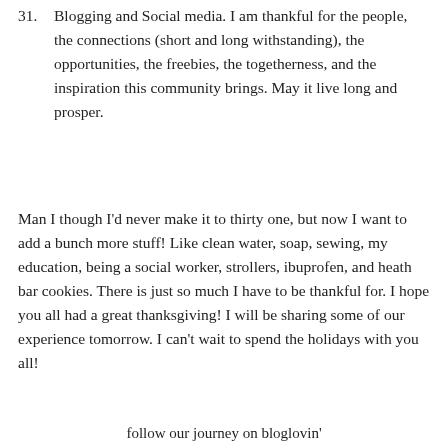31. Blogging and Social media. I am thankful for the people, the connections (short and long withstanding), the opportunities, the freebies, the togetherness, and the inspiration this community brings. May it live long and prosper.
Man I though I'd never make it to thirty one, but now I want to add a bunch more stuff! Like clean water, soap, sewing, my education, being a social worker, strollers, ibuprofen, and heath bar cookies. There is just so much I have to be thankful for. I hope you all had a great thanksgiving! I will be sharing some of our experience tomorrow. I can't wait to spend the holidays with you all!
follow our journey on bloglovin'